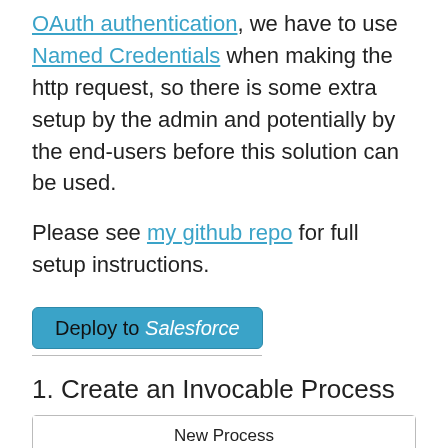OAuth authentication, we have to use Named Credentials when making the http request, so there is some extra setup by the admin and potentially by the end-users before this solution can be used.
Please see my github repo for full setup instructions.
[Figure (other): Deploy to Salesforce button (blue rounded rectangle)]
1. Create an Invocable Process
[Figure (screenshot): New Process UI dialog showing Process Name, API Name fields and Description label]